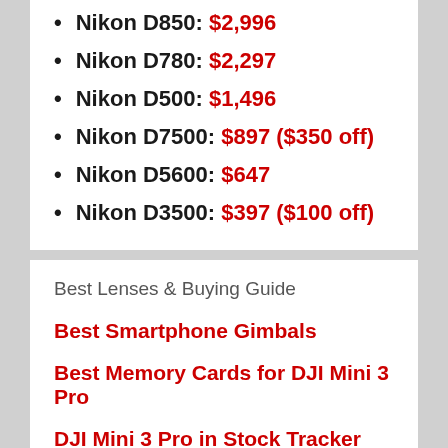Nikon D850: $2,996
Nikon D780: $2,297
Nikon D500: $1,496
Nikon D7500: $897 ($350 off)
Nikon D5600: $647
Nikon D3500: $397 ($100 off)
Best Lenses & Buying Guide
Best Smartphone Gimbals
Best Memory Cards for DJI Mini 3 Pro
DJI Mini 3 Pro in Stock Tracker
Best Memory Cards for Sony XPERIA 1 IV
Panasonic GH6 in Stock Tracker
Best Memory Cards for Panasonic GH6